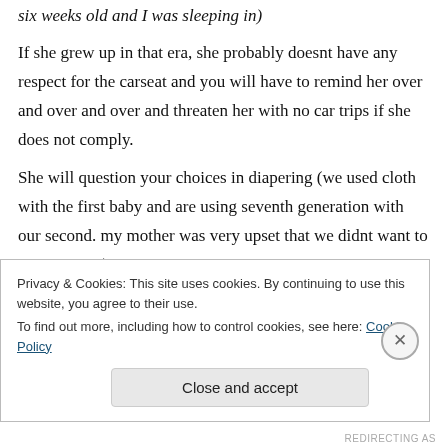six weeks old and I was sleeping in)
If she grew up in that era, she probably doesnt have any respect for the carseat and you will have to remind her over and over and over and threaten her with no car trips if she does not comply.
She will question your choices in diapering (we used cloth with the first baby and are using seventh generation with our second. my mother was very upset that we didnt want to use pampers)
Privacy & Cookies: This site uses cookies. By continuing to use this website, you agree to their use.
To find out more, including how to control cookies, see here: Cookie Policy
Close and accept